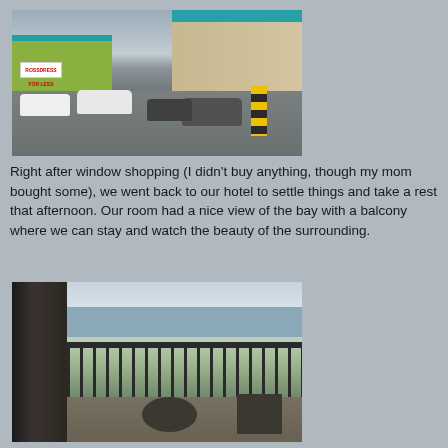[Figure (photo): Rainy parking lot scene with cars parked in front of a strip mall. A Ross store is visible on the left with a green and teal facade. Large beige building on the right. Wet pavement reflecting the cloudy sky. A yellow and black striped bollard is visible on the right side.]
Right after window shopping (I didn't buy anything, though my mom bought some), we went back to our hotel to settle things and take a rest that afternoon. Our room had a nice view of the bay with a balcony where we can stay and watch the beauty of the surrounding.
[Figure (photo): Hotel balcony view overlooking a bay and city skyline. A dark door/window frame is on the left. Metal railing with vertical bars spans the center. Trees, buildings and water visible in the background under overcast skies. Balcony furniture including a round table and chairs visible in the foreground.]